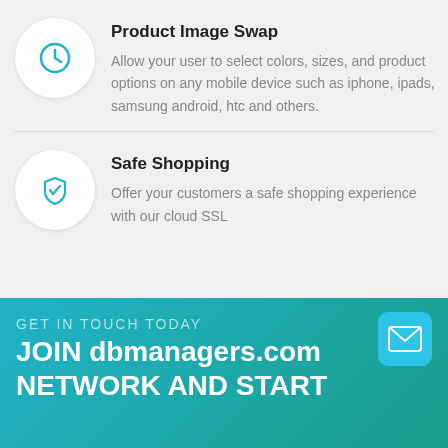Product Image Swap
Allow your user to select colors, sizes, and product options on any mobile device such as iphone, ipads, samsung android, htc and others.
Safe Shopping
Offer your customers a safe shopping experience with our cloud SSL
GET IN TOUCH TODAY
JOIN dbmanagers.com
NETWORK AND START